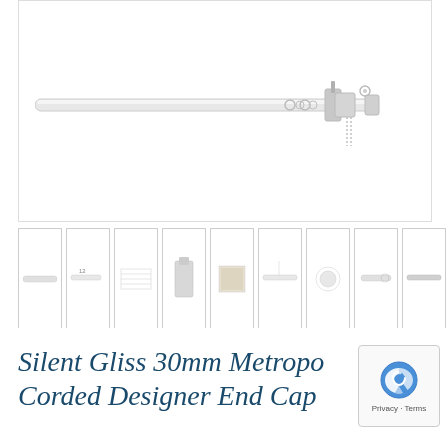[Figure (photo): Product image of a Silent Gliss 30mm Metropolitan curtain track/rail with corded mechanism, shown against white background. The track is horizontal with brackets and a chain/cord pull mechanism on the right side.]
[Figure (photo): Row of thumbnail product images showing different views and color/finish variants of the curtain track product. Includes plain white, detail shots, and various metallic/stone-look finish swatches.]
Silent Gliss 30mm Metropo Corded Designer End Cap